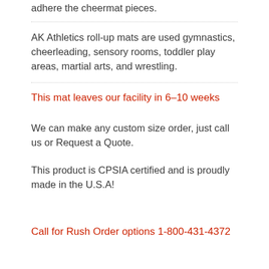adhere the cheermat pieces.
AK Athletics roll-up mats are used gymnastics, cheerleading, sensory rooms, toddler play areas, martial arts, and wrestling.
This mat leaves our facility in 6-10 weeks
We can make any custom size order, just call us or Request a Quote.
This product is CPSIA certified and is proudly made in the U.S.A!
Call for Rush Order options 1-800-431-4372